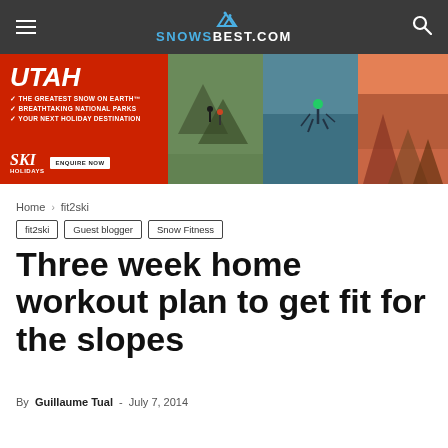SNOWSBEST.COM
[Figure (infographic): Utah ski holiday advertisement banner with red background text 'UTAH / THE GREATEST SNOW ON EARTH / BREATHTAKING NATIONAL PARKS / YOUR NEXT HOLIDAY DESTINATION / SKI HOLIDAYS ENQUIRE NOW' and three mountain/skiing/landscape photos]
Home › fit2ski
fit2ski   Guest blogger   Snow Fitness
Three week home workout plan to get fit for the slopes
By Guillaume Tual - July 7, 2014